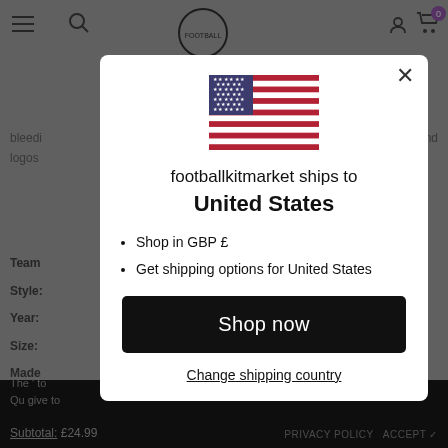[Figure (screenshot): Background of a football kit market website page, partially dimmed by modal overlay, showing navigation icons, text labels like Team, Style, Year, Size, Made, Front, and a dark footer with subtotal]
[Figure (illustration): USA flag SVG illustration centered in modal]
footballkitmarket ships to United States
Shop in GBP £
Get shipping options for United States
Shop now
Change shipping country